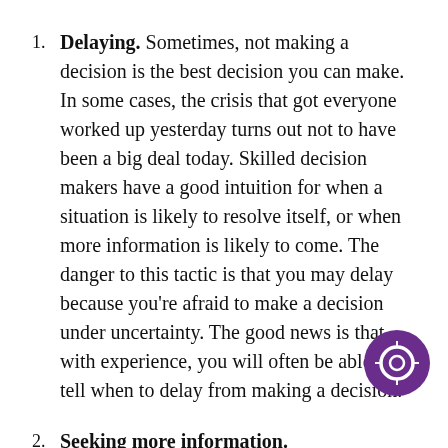Delaying. Sometimes, not making a decision is the best decision you can make. In some cases, the crisis that got everyone worked up yesterday turns out not to have been a big deal today. Skilled decision makers have a good intuition for when a situation is likely to resolve itself, or when more information is likely to come. The danger to this tactic is that you may delay because you’re afraid to make a decision under uncertainty. The good news is that with experience, you will often be able to tell when to delay from making a decision.
Seeking more information. Demanding information is the classical reaction to uncertainty. However, this strategy also...